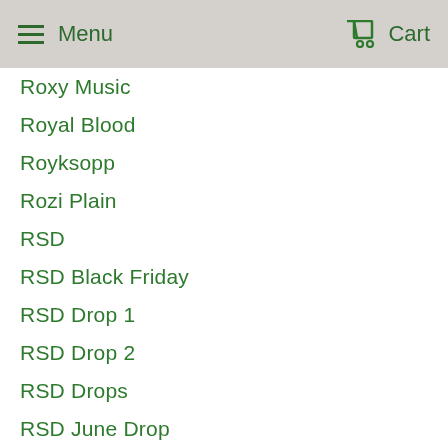Menu   Cart
Roxy Music
Royal Blood
Royksopp
Rozi Plain
RSD
RSD Black Friday
RSD Drop 1
RSD Drop 2
RSD Drops
RSD June Drop
RSD20
RSD21
RSD22
Rufus Wainwright